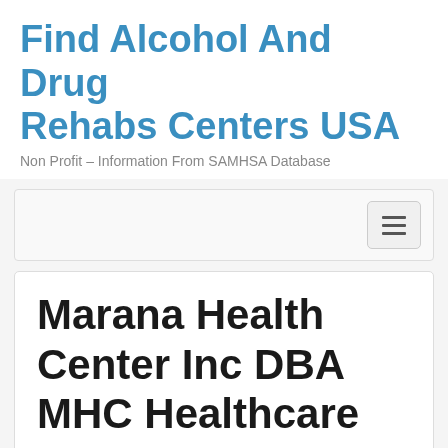Find Alcohol And Drug Rehabs Centers USA
Non Profit – Information From SAMHSA Database
Marana Health Center Inc DBA MHC Healthcare
Addiction Hotline 866-716-0142
Arizona (AZ)